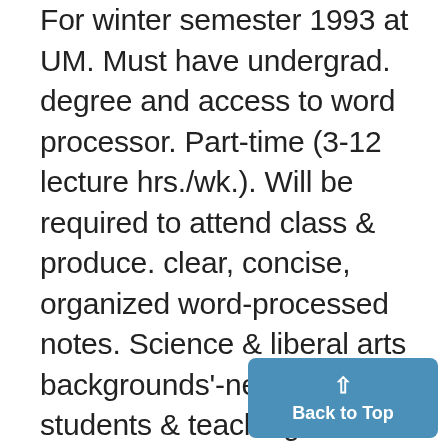For winter semester 1993 at UM. Must have undergrad. degree and access to word processor. Part-time (3-12 lecture hrs./wk.). Will be required to attend class & produce. clear, concise, organized word-processed notes. Science & liberal arts backgrounds'-needed. Grad. students & teaching assistants., preferred. $10/lecture hour, call for an application, Supreme Course Transcripts;' 996-2386. POSTDOCTORAL POSITION in.. Transplantation Immunology. Dept. of Pathology, Medicine and Sur...